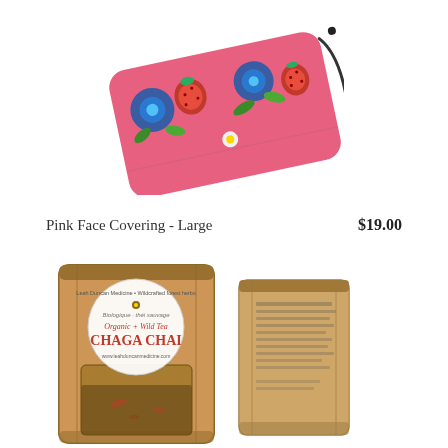[Figure (photo): Pink beaded-pattern face covering/mask with floral and strawberry design, shown at an angle on a white background]
Pink Face Covering - Large
$19.00
[Figure (photo): Two kraft paper stand-up pouches of Organic + Wild Tea Chaga Chai, one showing the front label and one showing the back with text]